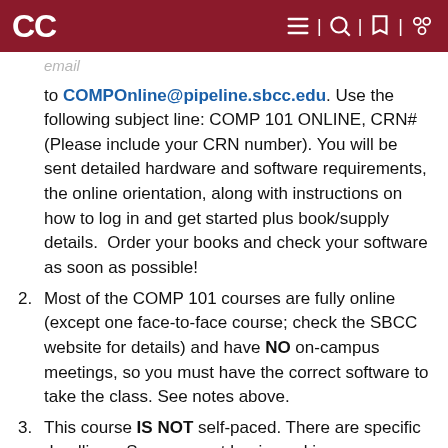CC | [menu] | [search] | [print] | [accessibility]
to COMPOnline@pipeline.sbcc.edu. Use the following subject line: COMP 101 ONLINE, CRN# (Please include your CRN number). You will be sent detailed hardware and software requirements, the online orientation, along with instructions on how to log in and get started plus book/supply details.  Order your books and check your software as soon as possible!
Most of the COMP 101 courses are fully online (except one face-to-face course; check the SBCC website for details) and have NO on-campus meetings, so you must have the correct software to take the class. See notes above.
This course IS NOT self-paced. There are specific deadlines. So, you must begin working